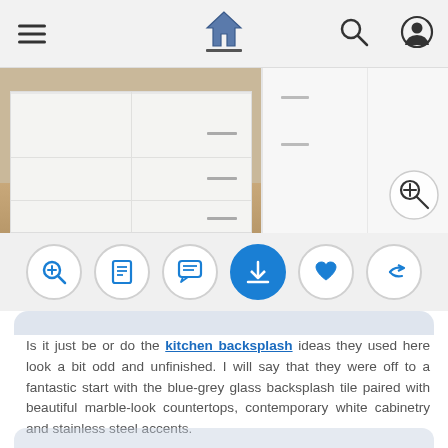Navigation bar with hamburger menu, home icon, search icon, and user icon
[Figure (photo): Kitchen interior showing white cabinetry with long bar handles, light wood flooring, and white island/counter unit]
[Figure (infographic): Row of 6 circular action buttons: zoom/magnify, document/list, comment/chat, download, favorite/heart, share/forward]
Is it just be or do the kitchen backsplash ideas they used here look a bit odd and unfinished. I will say that they were off to a fantastic start with the blue-grey glass backsplash tile paired with beautiful marble-look countertops, contemporary white cabinetry and stainless steel accents.